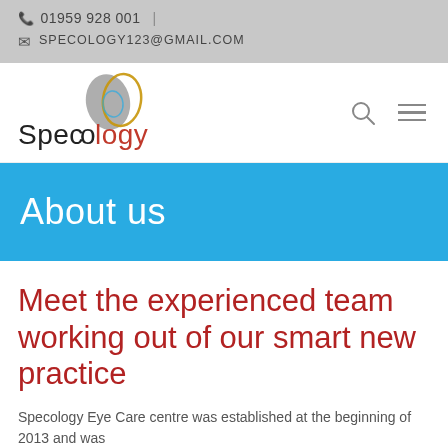📞 01959 928 001  |
✉ SPECOLOGY123@GMAIL.COM
[Figure (logo): Specology logo with stylized eye/lens graphic in grey and gold above the word 'Specology' in black and red lettering]
About us
Meet the experienced team working out of our smart new practice
Specology Eye Care centre was established at the beginning of 2013 and was...